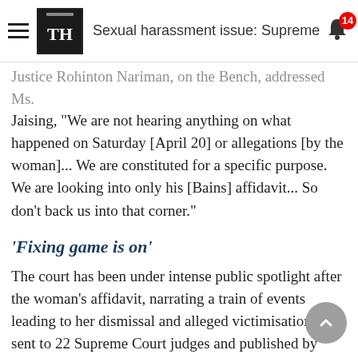Sexual harassment issue: Supreme
Justice Rohinton Nariman, on the Bench, addressed Ms. Jaising, "We are not hearing anything on what happened on Saturday [April 20] or allegations [by the woman]... We are constituted for a specific purpose. We are looking into only his [Bains] affidavit... So don't back us into that corner."
'Fixing game is on'
The court has been under intense public spotlight after the woman's affidavit, narrating a train of events leading to her dismissal and alleged victimisation, was sent to 22 Supreme Court judges and published by several news websites on April 20.
Justice Mishra said Mr. Bains has alleged that a "fixing